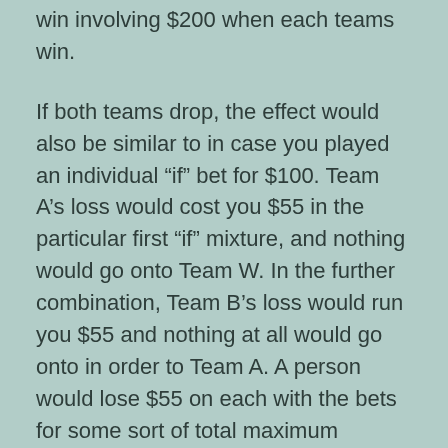win involving $200 when each teams win.
If both teams drop, the effect would also be similar to in case you played an individual “if” bet for $100. Team A’s loss would cost you $55 in the particular first “if” mixture, and nothing would go onto Team W. In the further combination, Team B’s loss would run you $55 and nothing at all would go onto in order to Team A. A person would lose $55 on each with the bets for some sort of total maximum reduction of $110 whenever both teams lose.
The difference takes place when the teams